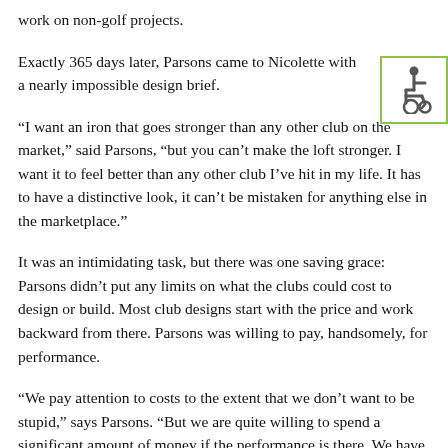work on non-golf projects.
Exactly 365 days later, Parsons came to Nicolette with a nearly impossible design brief.
“I want an iron that goes stronger than any other club on the market,” said Parsons, “but you can’t make the loft stronger. I want it to feel better than any other club I’ve hit in my life. It has to have a distinctive look, it can’t be mistaken for anything else in the marketplace.”
It was an intimidating task, but there was one saving grace: Parsons didn’t put any limits on what the clubs could cost to design or build. Most club designs start with the price and work backward from there. Parsons was willing to pay, handsomely, for performance.
“We pay attention to costs to the extent that we don’t want to be stupid,” says Parsons. “But we are quite willing to spend a significant amount of money if the performance is there. We have no time constraints for our engineers, we have no cost constraints. Whatever makes